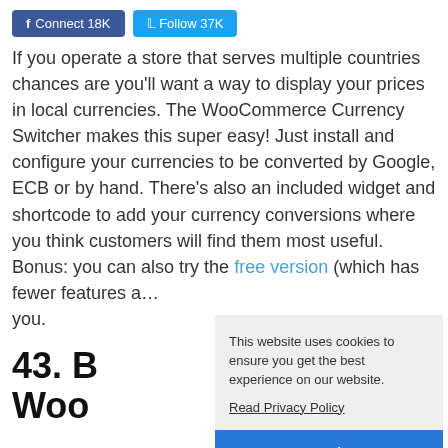f Connect 18K   Follow 37K
If you operate a store that serves multiple countries chances are you'll want a way to display your prices in local currencies. The WooCommerce Currency Switcher makes this super easy! Just install and configure your currencies to be converted by Google, ECB or by hand. There's also an included widget and shortcode to add your currency conversions where you think customers will find them most useful. Bonus: you can also try the free version (which has fewer features a… you.
This website uses cookies to ensure you get the best experience on our website. Read Privacy Policy Got it!
43. B… Woo…